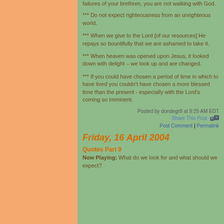*** Do not expect righteousness from an unrighteous world.
*** When we give to the Lord [of our resources] He repays so bountifully that we are ashamed to take it.
*** When heaven was opened upon Jesus, it looked down with delight – we look up and are changed.
*** If you could have chosen a period of time in which to have lived you couldn't have chosen a more blessed time than the present - especially with the Lord's coming so imminent.
Posted by dondegr8 at 9:25 AM EDT
Share This Post
Post Comment | Permalink
Friday, 16 April 2004
Quotes Part 9
Now Playing: What do we look for and what should we expect?